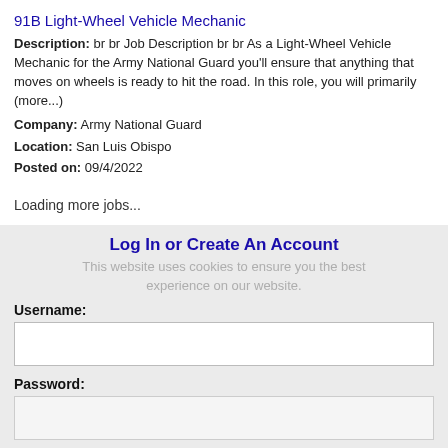91B Light-Wheel Vehicle Mechanic
Description: br br Job Description br br As a Light-Wheel Vehicle Mechanic for the Army National Guard you'll ensure that anything that moves on wheels is ready to hit the road. In this role, you will primarily (more...)
Company: Army National Guard
Location: San Luis Obispo
Posted on: 09/4/2022
Loading more jobs...
Log In or Create An Account
This website uses cookies to ensure you the best experience on our website.
Username:
Password: